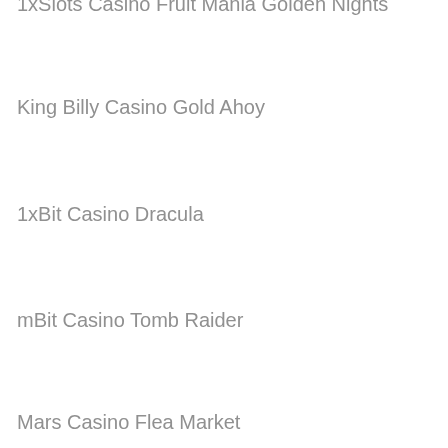1xSlots Casino Fruit Mania Golden Nights
King Billy Casino Gold Ahoy
1xBit Casino Dracula
mBit Casino Tomb Raider
Mars Casino Flea Market